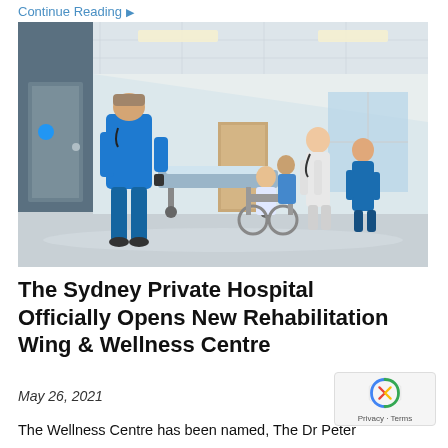Continue Reading
[Figure (photo): Hospital corridor with medical staff in blue scrubs pushing a gurney and walking alongside a patient in a wheelchair in a bright, modern hospital hallway.]
The Sydney Private Hospital Officially Opens New Rehabilitation Wing & Wellness Centre
May 26, 2021
The Wellness Centre has been named, The Dr Peter